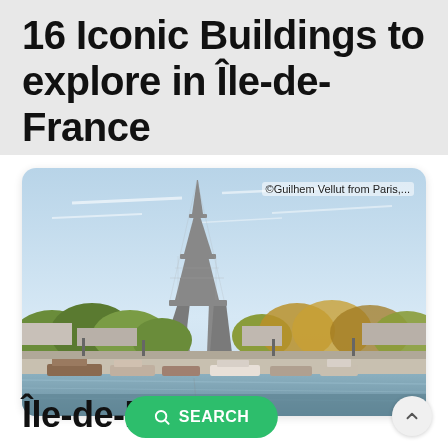16 Iconic Buildings to explore in Île-de-France
[Figure (photo): Photo of the Eiffel Tower viewed from across the Seine river, with boats moored along the riverbank and autumn trees in the foreground. Attribution: ©Guilhem Vellut from Paris,...]
Île-de-F...